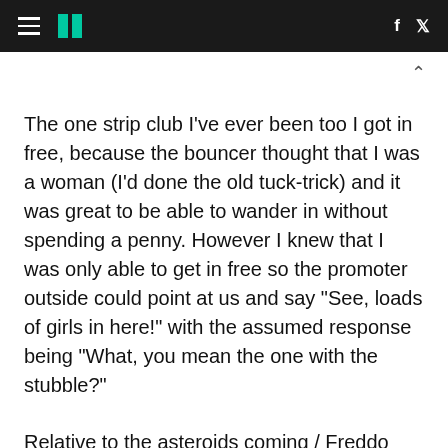HuffPost navigation with hamburger menu, logo, and social icons (f, twitter)
The one strip club I've ever been too I got in free, because the bouncer thought that I was a woman (I'd done the old tuck-trick) and it was great to be able to wander in without spending a penny. However I knew that I was only able to get in free so the promoter outside could point at us and say "See, loads of girls in here!" with the assumed response being "What, you mean the one with the stubble?"
Relative to the asteroids coming / Freddo bars now costing 15p, it seems like quite a minor thing